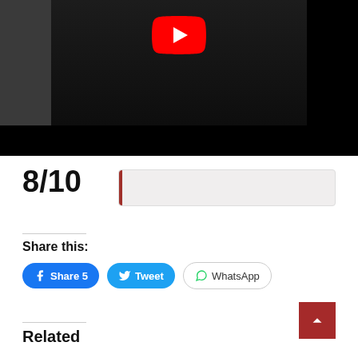[Figure (screenshot): YouTube video thumbnail showing a dark scene with a person in dark clothing. A red YouTube play button is visible at the top center.]
8/10
Share this:
Share 5
Tweet
WhatsApp
Related